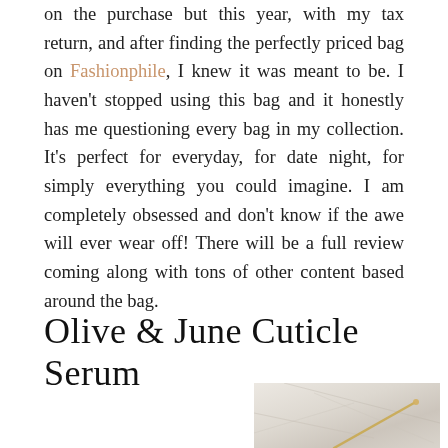on the purchase but this year, with my tax return, and after finding the perfectly priced bag on Fashionphile, I knew it was meant to be. I haven't stopped using this bag and it honestly has me questioning every bag in my collection. It's perfect for everyday, for date night, for simply everything you could imagine. I am completely obsessed and don't know if the awe will ever wear off! There will be a full review coming along with tons of other content based around the bag.
Olive & June Cuticle Serum
[Figure (photo): Partial photo of what appears to be a marble surface with a gold/metallic object, cropped at bottom of page]